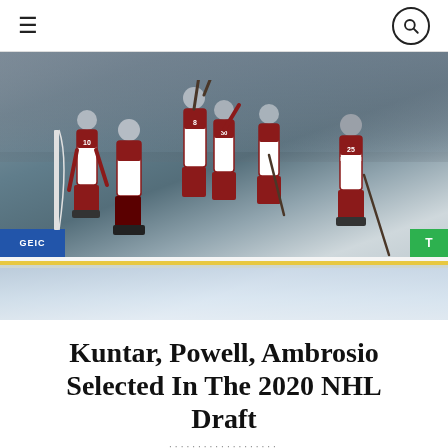Navigation header with hamburger menu and search icon
[Figure (photo): College hockey team celebrating on ice rink, players wearing red and white uniforms, some raising sticks, arena setting with GEICO and TD Bank banners visible along the boards]
Kuntar, Powell, Ambrosio Selected In The 2020 NHL Draft